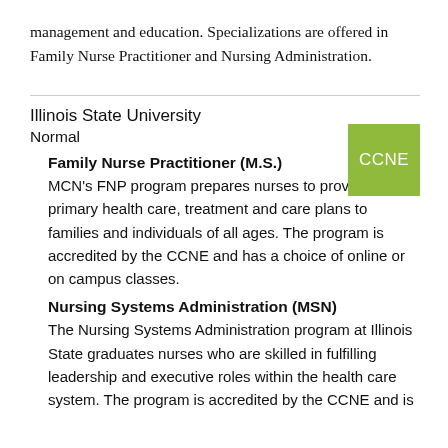management and education. Specializations are offered in Family Nurse Practitioner and Nursing Administration.
Illinois State University
Normal
Family Nurse Practitioner (M.S.)
MCN's FNP program prepares nurses to provide primary health care, treatment and care plans to families and individuals of all ages. The program is accredited by the CCNE and has a choice of online or on campus classes.
Nursing Systems Administration (MSN)
The Nursing Systems Administration program at Illinois State graduates nurses who are skilled in fulfilling leadership and executive roles within the health care system. The program is accredited by the CCNE and is